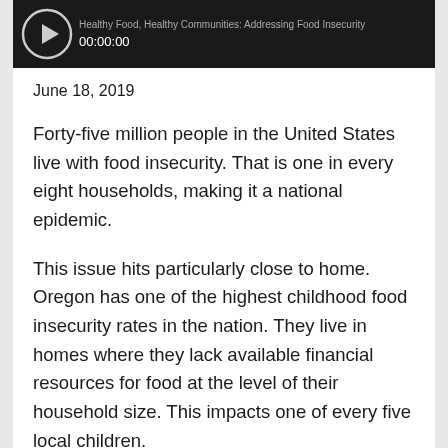[Figure (screenshot): Video player bar showing play button and timestamp 00:00:00 on dark background, with partial title text visible]
June 18, 2019
Forty-five million people in the United States live with food insecurity. That is one in every eight households, making it a national epidemic.
This issue hits particularly close to home. Oregon has one of the highest childhood food insecurity rates in the nation. They live in homes where they lack available financial resources for food at the level of their household size. This impacts one of every five local children.
In this episode of HealthChangers, we are taking a closer look at what is being done to help address this public health crisis in our own communities. Today, we're joined by Angela